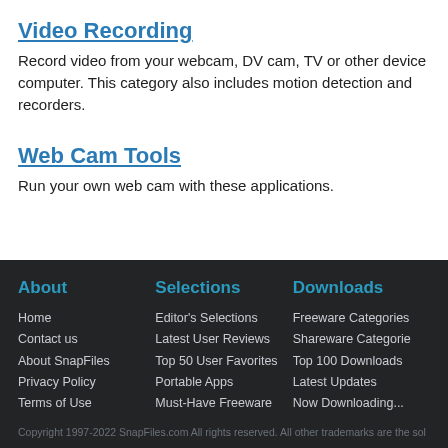Video Recording
Record video from your webcam, DV cam, TV or other device computer. This category also includes motion detection and recorders.
Web Cam Tools
Run your own web cam with these applications.
About | Home | Contact us | About SnapFiles | Privacy Policy | Terms of Use | Selections | Editor's Selections | Latest User Reviews | Top 50 User Favorites | Portable Apps | Must-Have Freeware | Downloads | Freeware Categories | Shareware Categories | Top 100 Downloads | Latest Updates | Now Downloading... | Copyright 1997-2022 SnapFiles.com All rights reserved. All other trademarks are the sol